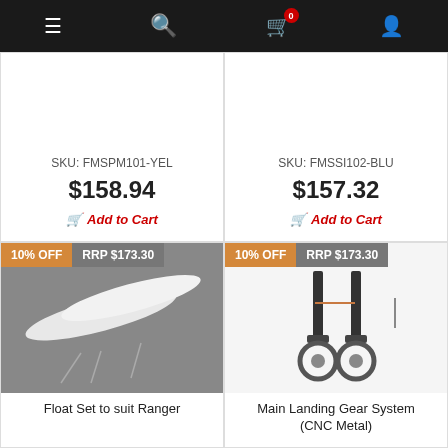Navigation bar with menu, search, cart (0 items), and user icons
SKU: FMSPM101-YEL
$158.94
Add to Cart
SKU: FMSSI102-BLU
$157.32
Add to Cart
[Figure (photo): Float Set to suit Ranger – two white foam floats with wire landing struts on grey background. Badge: 10% OFF, RRP $173.30]
Float Set to suit Ranger
[Figure (photo): Main Landing Gear System (CNC Metal) – two retractable landing gear legs with wheels on white background. Badge: 10% OFF, RRP $173.30]
Main Landing Gear System (CNC Metal)